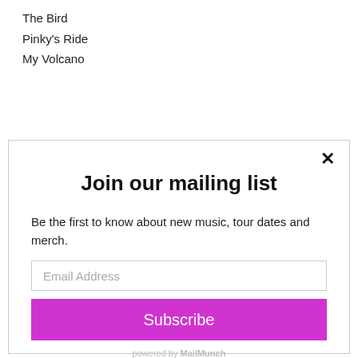The Bird
Pinky's Ride
My Volcano
Join our mailing list
Be the first to know about new music, tour dates and merch.
Email Address
Subscribe
powered by MailMunch